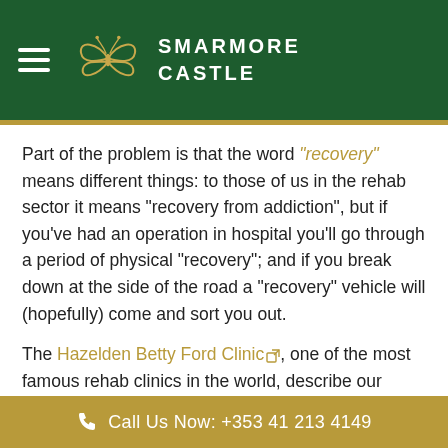[Figure (logo): Smarmore Castle logo with butterfly/floral emblem and text SMARMORE CASTLE on dark green header background with hamburger menu icon]
Part of the problem is that the word “recovery” means different things: to those of us in the rehab sector it means “recovery from addiction”, but if you’ve had an operation in hospital you’ll go through a period of physical “recovery”; and if you break down at the side of the road a “recovery” vehicle will (hopefully) come and sort you out.
The Hazelden Betty Ford Clinic, one of the most famous rehab clinics in the world, describe our version of the word as follows: “Recovery from substance
Call Us Now: +353 41 213 4149